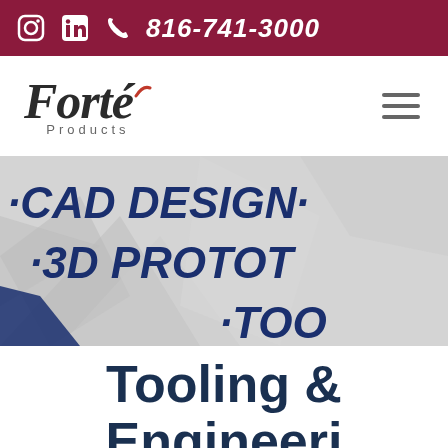816-741-3000
[Figure (logo): Forté Products logo with italic serif font and red accent mark]
[Figure (screenshot): Hero banner with geometric polygon background showing scrolling text: ·CAD DESIGN· ·3D PROTOT... ·TOO...]
Tooling & Engineeri